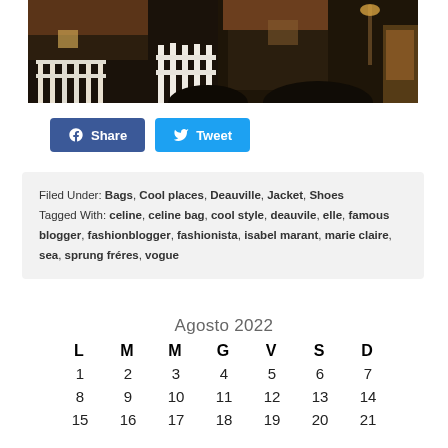[Figure (photo): Photograph of a street or outdoor area with white picket fence structures and buildings with tiled roofs, taken at night with warm lighting.]
[Figure (infographic): Facebook Share button (blue) and Twitter Tweet button (light blue) with respective logos.]
Filed Under: Bags, Cool places, Deauville, Jacket, Shoes
Tagged With: celine, celine bag, cool style, deauvile, elle, famous blogger, fashionblogger, fashionista, isabel marant, marie claire, sea, sprung fréres, vogue
| L | M | M | G | V | S | D |
| --- | --- | --- | --- | --- | --- | --- |
| 1 | 2 | 3 | 4 | 5 | 6 | 7 |
| 8 | 9 | 10 | 11 | 12 | 13 | 14 |
| 15 | 16 | 17 | 18 | 19 | 20 | 21 |